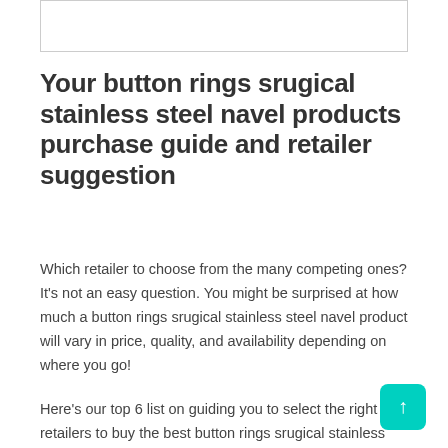[Figure (other): Empty bordered box at top of page]
Your button rings srugical stainless steel navel products purchase guide and retailer suggestion
Which retailer to choose from the many competing ones? It's not an easy question. You might be surprised at how much a button rings srugical stainless steel navel product will vary in price, quality, and availability depending on where you go!
Here's our top 6 list on guiding you to select the right retailers to buy the best button rings srugical stainless